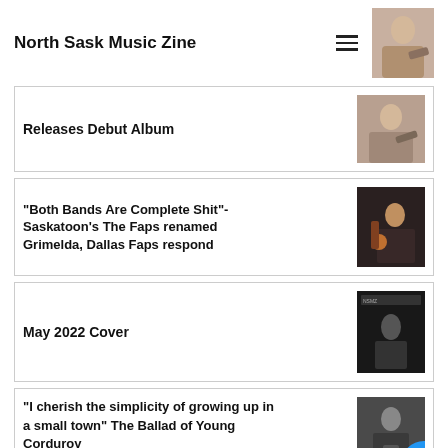North Sask Music Zine
Releases Debut Album
"Both Bands Are Complete Shit"- Saskatoon's The Faps renamed Grimelda, Dallas Faps respond
May 2022 Cover
"I cherish the simplicity of growing up in a small town" The Ballad of Young Corduroy
All Posts